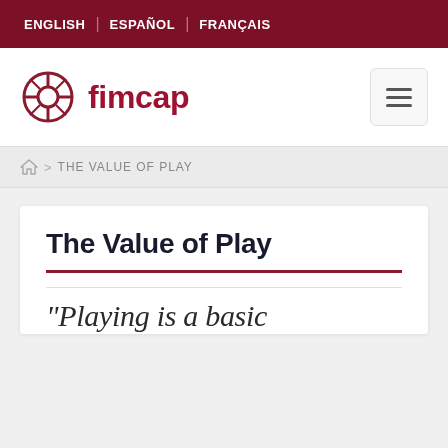ENGLISH | ESPAÑOL | FRANÇAIS
[Figure (logo): FIMCAP logo: circular crosshair emblem in dark red with text 'fimcap' in dark red bold font]
THE VALUE OF PLAY (breadcrumb navigation)
The Value of Play
“Playing is a basic